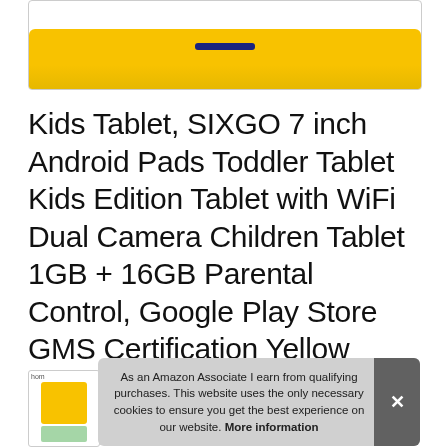[Figure (photo): Yellow tablet device shown from top, partially cropped at the top of the page]
Kids Tablet, SIXGO 7 inch Android Pads Toddler Tablet Kids Edition Tablet with WiFi Dual Camera Children Tablet 1GB + 16GB Parental Control, Google Play Store GMS Certification Yellow
[Figure (photo): Small thumbnail image of the tablet product]
As an Amazon Associate I earn from qualifying purchases. This website uses the only necessary cookies to ensure you get the best experience on our website. More information